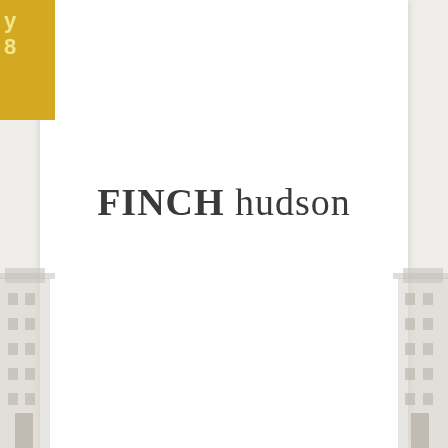[Figure (logo): FINCH hudson company logo in serif font, bold FINCH followed by regular weight hudson]
[Figure (illustration): Gold corner badge in top-left with partial text visible (y and 8), building illustrations on lower-left and lower-right edges of the page background]